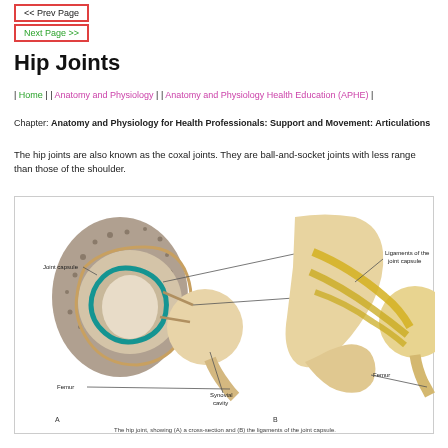<< Prev Page
Next Page >>
Hip Joints
| Home | | Anatomy and Physiology | | Anatomy and Physiology Health Education (APHE) |
Chapter: Anatomy and Physiology for Health Professionals: Support and Movement: Articulations
The hip joints are also known as the coxal joints. They are ball-and-socket joints with less range than those of the shoulder.
[Figure (illustration): Anatomical illustration of the hip joint showing (A) a cross-section with labeled structures: Joint capsule, Hyaline cartilage, Ligament, Femur, Synovial cavity; and (B) the ligaments of the joint capsule with labeled structures: Ligaments of the joint capsule, Femur.]
The hip joint, showing (A) a cross-section and (B) the ligaments of the joint capsule.